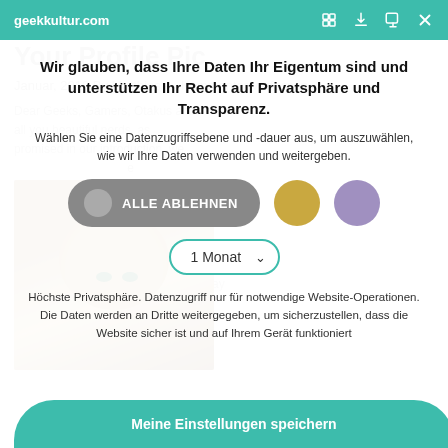geekkultur.com
Wir glauben, dass Ihre Daten Ihr Eigentum sind und unterstützen Ihr Recht auf Privatsphäre und Transparenz.
Wählen Sie eine Datenzugriffsebene und -dauer aus, um auszuwählen, wie wir Ihre Daten verwenden und weitergeben.
ALLE ABLEHNEN
1 Monat
Höchste Privatsphäre. Datenzugriff nur für notwendige Website-Operationen. Die Daten werden an Dritte weitergegeben, um sicherzustellen, dass die Website sicher ist und auf Ihrem Gerät funktioniert
Meine Einstellungen speichern